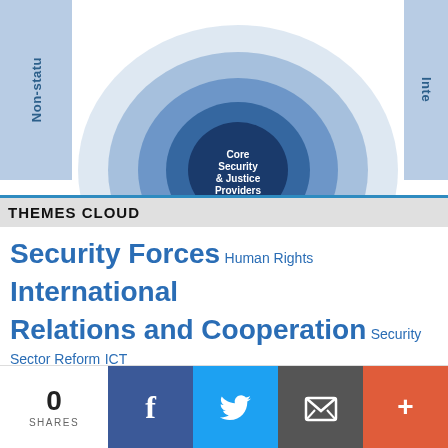[Figure (infographic): Partial concentric circles diagram showing Core Security & Justice Providers at center, with outer rings. Left sidebar labeled 'Non-statu...' and right sidebar labeled 'Inte...' in light blue panels.]
THEMES CLOUD
Security Forces Human Rights International Relations and Cooperation Security Sector Reform ICT and Media Governance Security Situation Electoral
We use cookies on our website to give you the most relevant experience by remembering your preferences and repeat visits. By clicking "Accept All", you consent to the use of ALL the cookies. However, you may visit "Cookie Settings" to provide a controlled consent.
0 SHARES